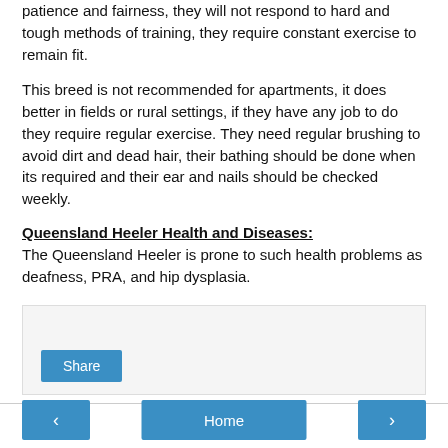patience and fairness, they will not respond to hard and tough methods of training, they require constant exercise to remain fit.
This breed is not recommended for apartments, it does better in fields or rural settings, if they have any job to do they require regular exercise. They need regular brushing to avoid dirt and dead hair, their bathing should be done when its required and their ear and nails should be checked weekly.
Queensland Heeler Health and Diseases:
The Queensland Heeler is prone to such health problems as deafness, PRA, and hip dysplasia.
[Figure (other): Share widget box with a Share button]
< Home >